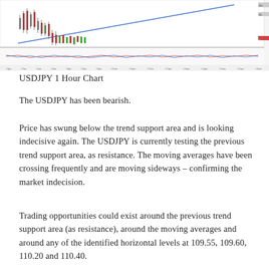[Figure (continuous-plot): USDJPY 1 Hour Chart showing candlestick price action with a blue diagonal trend support line, and a lower panel showing moving averages/oscillator indicators. Chart appears bearish with price breaking below the trend support area.]
USDJPY 1 Hour Chart
The USDJPY has been bearish.
Price has swung below the trend support area and is looking indecisive again. The USDJPY is currently testing the previous trend support area, as resistance. The moving averages have been crossing frequently and are moving sideways – confirming the market indecision.
Trading opportunities could exist around the previous trend support area (as resistance), around the moving averages and around any of the identified horizontal levels at 109.55, 109.60, 110.20 and 110.40.